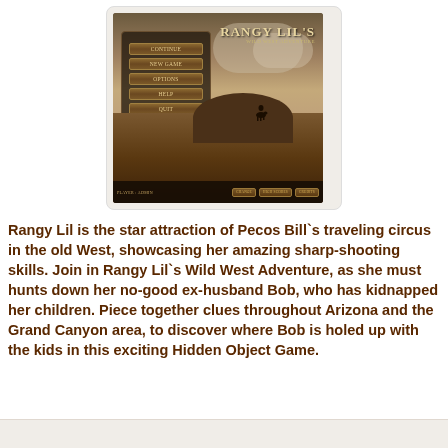[Figure (screenshot): Game screenshot of Rangy Lil's Wild West Adventure showing a western landscape with a menu panel containing Continue, New Game, Options, Help, Quit buttons, a silhouette of a horse and rider on a cliff, and a bottom bar with player name and buttons.]
Rangy Lil is the star attraction of Pecos Bill`s traveling circus in the old West, showcasing her amazing sharp-shooting skills. Join in Rangy Lil`s Wild West Adventure, as she must hunts down her no-good ex-husband Bob, who has kidnapped her children. Piece together clues throughout Arizona and the Grand Canyon area, to discover where Bob is holed up with the kids in this exciting Hidden Object Game.